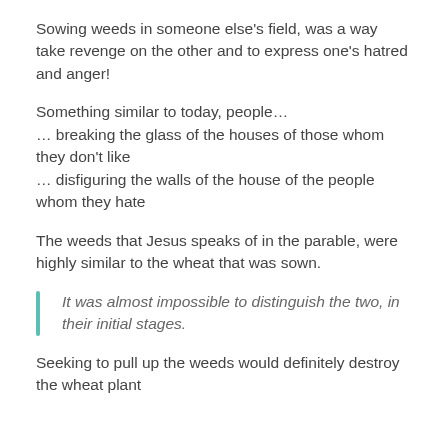Sowing weeds in someone else's field, was a way take revenge on the other and to express one's hatred and anger!
Something similar to today, people…
… breaking the glass of the houses of those whom they don't like
… disfiguring the walls of the house of the people whom they hate
The weeds that Jesus speaks of in the parable, were highly similar to the wheat that was sown.
It was almost impossible to distinguish the two, in their initial stages.
Seeking to pull up the weeds would definitely destroy the wheat plant